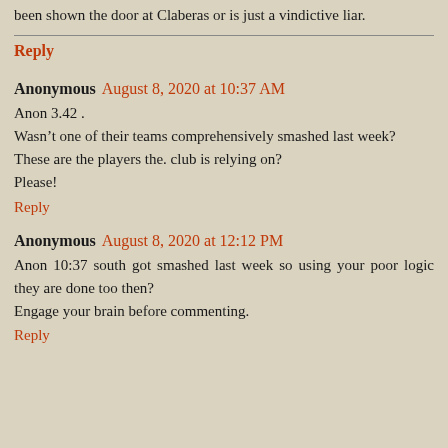been shown the door at Claberas or is just a vindictive liar.
Reply
Anonymous August 8, 2020 at 10:37 AM
Anon 3.42 .
Wasn’t one of their teams comprehensively smashed last week?
These are the players the. club is relying on?
Please!
Reply
Anonymous August 8, 2020 at 12:12 PM
Anon 10:37 south got smashed last week so using your poor logic they are done too then?
Engage your brain before commenting.
Reply